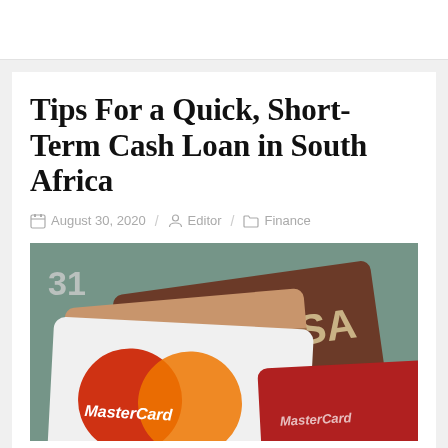Tips For a Quick, Short-Term Cash Loan in South Africa
August 30, 2020 / Editor / Finance
[Figure (photo): Close-up photograph of credit cards including MasterCard and Visa cards stacked together]
The need to get access to cash rapidly is something that many of us face at some point in